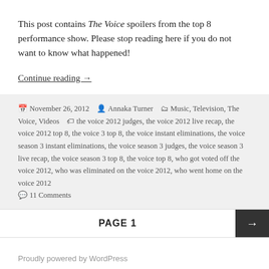This post contains The Voice spoilers from the top 8 performance show. Please stop reading here if you do not want to know what happened!
Continue reading →
November 26, 2012  Annaka Turner  Music, Television, The Voice, Videos  the voice 2012 judges, the voice 2012 live recap, the voice 2012 top 8, the voice 3 top 8, the voice instant eliminations, the voice season 3 instant eliminations, the voice season 3 judges, the voice season 3 live recap, the voice season 3 top 8, the voice top 8, who got voted off the voice 2012, who was eliminated on the voice 2012, who went home on the voice 2012  11 Comments
PAGE 1
Proudly powered by WordPress